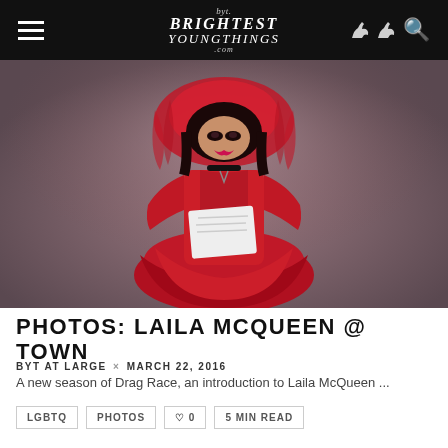byt BRIGHTEST YOUNG THINGS .com
[Figure (photo): A performer dressed in an elaborate all-red costume including a large red veil/headpiece, red layered dress with a full skirt, and red jacket, holding papers, standing against a blurred grey-pink background.]
PHOTOS: LAILA MCQUEEN @ TOWN
BYT AT LARGE × MARCH 22, 2016
A new season of Drag Race, an introduction to Laila McQueen ...
LGBTQ    PHOTOS    ♡ 0    5 MIN READ